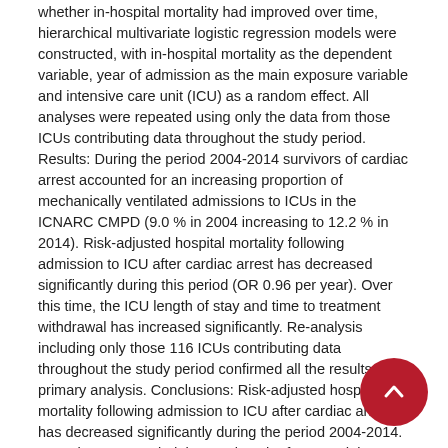whether in-hospital mortality had improved over time, hierarchical multivariate logistic regression models were constructed, with in-hospital mortality as the dependent variable, year of admission as the main exposure variable and intensive care unit (ICU) as a random effect. All analyses were repeated using only the data from those ICUs contributing data throughout the study period. Results: During the period 2004-2014 survivors of cardiac arrest accounted for an increasing proportion of mechanically ventilated admissions to ICUs in the ICNARC CMPD (9.0 % in 2004 increasing to 12.2 % in 2014). Risk-adjusted hospital mortality following admission to ICU after cardiac arrest has decreased significantly during this period (OR 0.96 per year). Over this time, the ICU length of stay and time to treatment withdrawal has increased significantly. Re-analysis including only those 116 ICUs contributing data throughout the study period confirmed all the results of the primary analysis. Conclusions: Risk-adjusted hospital mortality following admission to ICU after cardiac arrest has decreased significantly during the period 2004-2014. Over the same period the ICU length of stay and time to treatment withdrawal has increased significantly.